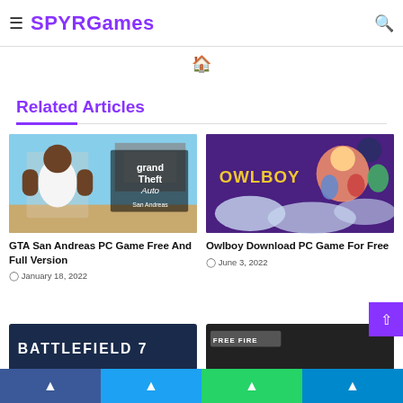SPYRGames
py questions about the latest news on games? Look for your favorite games here, even if you don't find it, all the ideas are needed to bring it here for you. Here's a promise, and games to realise i
Related Articles
[Figure (screenshot): GTA San Andreas game promotional image showing CJ character with game logo]
GTA San Andreas PC Game Free And Full Version
January 18, 2022
[Figure (screenshot): Owlboy game cover art showing colorful characters on purple background]
Owlboy Download PC Game For Free
June 3, 2022
[Figure (screenshot): Battlefield 7 partial thumbnail]
[Figure (screenshot): Free Fire game partial thumbnail]
Facebook Twitter WhatsApp Telegram